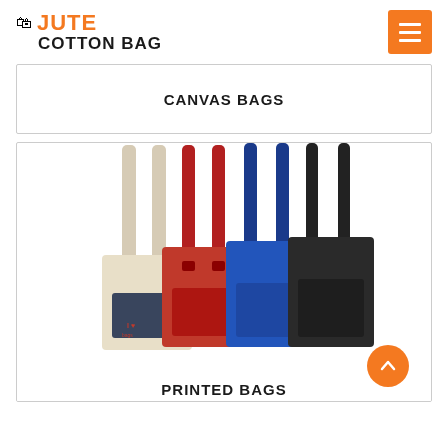JUTE COTTON BAG
CANVAS BAGS
[Figure (photo): Four canvas tote bags in different colors (natural/beige, red, blue, black) with long shoulder straps, displayed fanned out side by side.]
PRINTED BAGS